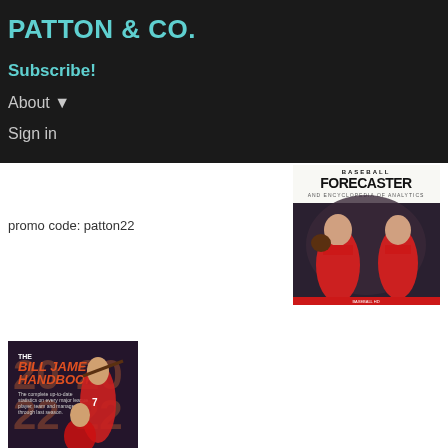PATTON & CO.
Subscribe!
About ▼
Sign in
[Figure (photo): Cover of Baseball Forecaster book showing two baseball players in red Angels uniforms]
promo code: patton22
[Figure (photo): Cover of The Bill James Handbook 2022 showing a baseball player batting in Angels uniform]